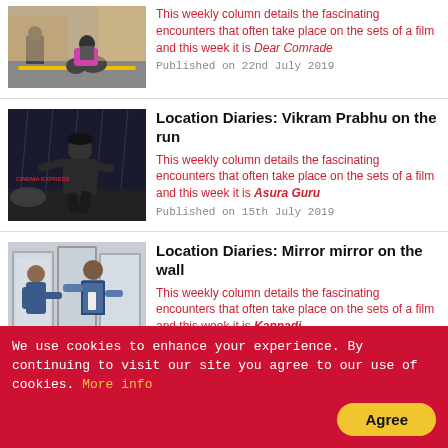[Figure (photo): Person on motorcycle on road]
This weekly column details the fascinating encounters that often take place on the sets of a film and this week it is Dear Comrade
Published on 22nd July 2019
[Figure (photo): Man running in dark rainy scene, Cinema Express text]
Location Diaries: Vikram Prabhu on the run
This weekly column details the fascinating encounters that often take place on the sets of a film and this week it is Asura Guru
Published on 15th July 2019
[Figure (photo): Two people near mirrors in a room]
Location Diaries: Mirror mirror on the wall
This weekly column details the fascinating encounters that often take place on the sets of a film and this week it is Kannadi
Published on 8th July 2019
We use cookies to enhance your experience. By continuing to visit our site you agree to our use of cookies. More info